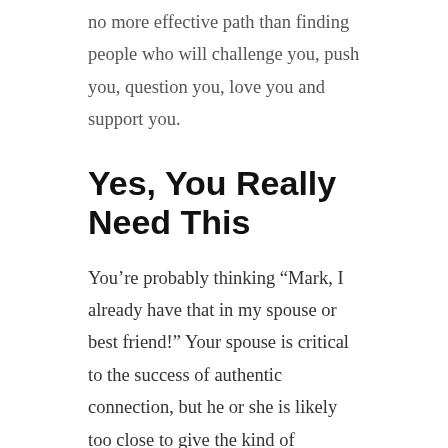no more effective path than finding people who will challenge you, push you, question you, love you and support you.
Yes, You Really Need This
You’re probably thinking “Mark, I already have that in my spouse or best friend!” Your spouse is critical to the success of authentic connection, but he or she is likely too close to give the kind of criticism or support that an objective external party can provide. This doesn’t invalidate their input and it isn’t true in every circumstance. A coach or mentor can be another critical asset. And it will cost you – dollars and time. And it’s